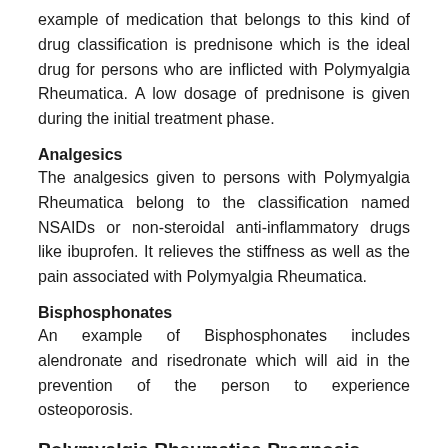example of medication that belongs to this kind of drug classification is prednisone which is the ideal drug for persons who are inflicted with Polymyalgia Rheumatica. A low dosage of prednisone is given during the initial treatment phase.
Analgesics
The analgesics given to persons with Polymyalgia Rheumatica belong to the classification named NSAIDs or non-steroidal anti-inflammatory drugs like ibuprofen. It relieves the stiffness as well as the pain associated with Polymyalgia Rheumatica.
Bisphosphonates
An example of Bisphosphonates includes alendronate and risedronate which will aid in the prevention of the person to experience osteoporosis.
Polymyalgia Rheumatica Prognosis